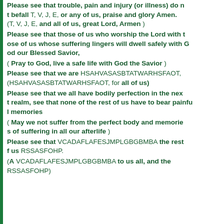Please see that trouble, pain and injury (or illness) do not befall T, V, J, E, or any of us, praise and glory Amen. (T, V, J, E, and all of us, great Lord, Armen )
Please see that those of us who worship the Lord with those of us whose suffering lingers will dwell safely with God our Blessed Savior,
( Pray to God, live a safe life with God the Savior )
Please see that we are HSAHVASASBTATWARHSFAOT, (HSAHVASASBTATWARHSFAOT, for all of us)
Please see that we all have bodily perfection in the next realm, see that none of the rest of us have to bear painful memories
( May we not suffer from the perfect body and memories of suffering in all our afterlife )
Please see that VCADAFLAFESJMPLGBGBMBA the rest of us RSSASFOHP.
(A VCADAFLAFESJMPLGBGBMBA to us all, and the RSSASFOHP)